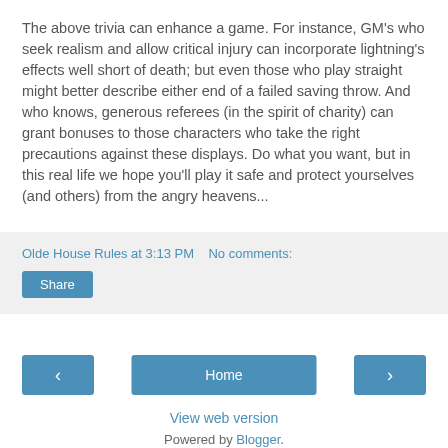The above trivia can enhance a game.  For instance, GM's who seek realism and allow critical injury can incorporate lightning's effects well short of death; but even those who play straight might better describe either end of a failed saving throw.  And who knows, generous referees (in the spirit of charity) can grant bonuses to those characters who take the right precautions against these displays.  Do what you want, but in this real life we hope you'll play it safe and protect yourselves (and others) from the angry heavens...
Olde House Rules at 3:13 PM   No comments:
Share
‹
Home
›
View web version
Powered by Blogger.